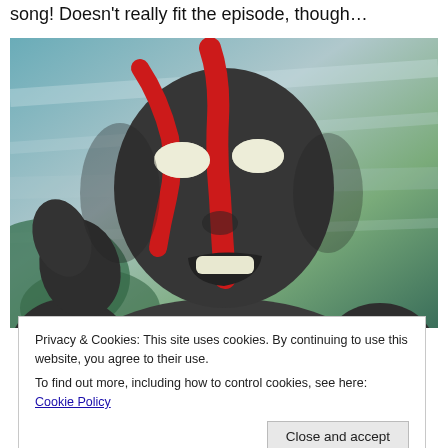song! Doesn't really fit the episode, though…
[Figure (illustration): Animated character with dark grey face and red stripe markings, glowing white eyes, open mouth showing white teeth, action motion blur background in teal/green tones. Cartoon/anime style villain character close-up.]
Privacy & Cookies: This site uses cookies. By continuing to use this website, you agree to their use.
To find out more, including how to control cookies, see here: Cookie Policy
Close and accept